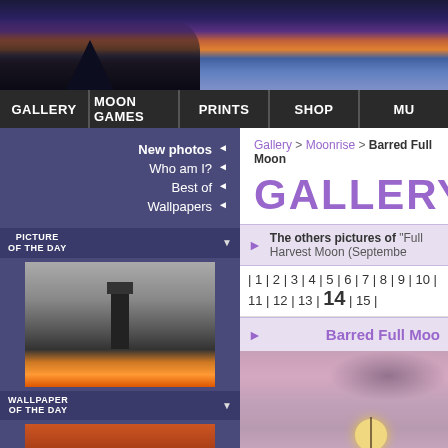[Figure (photo): Panoramic header photo of a dramatic twilight/sunset sky with rocks and blue-purple gradient]
GALLERY | MOON GAMES | PRINTS | SHOP | MU...
New photos ◄
Who am I? ◄
Best of ◄
Wallpapers ◄
PICTURE OF THE DAY
[Figure (photo): Thumbnail of lighthouse silhouette against orange sunset sky]
WALLPAPER OF THE DAY
[Figure (photo): Thumbnail of dark reddish orange sky with silhouette]
MOST VIEWS FOR THIS CATEGORY
Gallery > Moonrise > Barred Full Moon
GALLERY
The others pictures of "Full Harvest Moon (September...
| 1 | 2 | 3 | 4 | 5 | 6 | 7 | 8 | 9 | 10 | 11 | 12 | 13 | 14 | 15 |
Barred Full Moo...
[Figure (photo): Photo of barred full moon in a pink-mauve sky with a dark bar crossing the moon and cloud wisps]